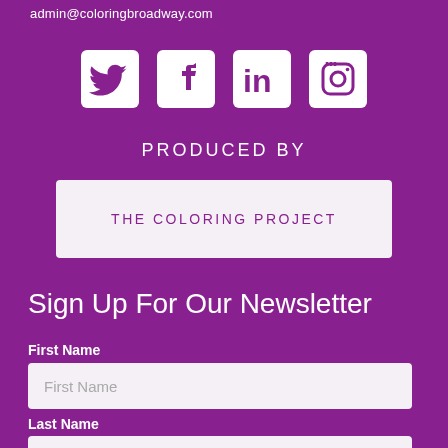admin@coloringbroadway.com
[Figure (logo): Social media icons: Twitter, Facebook, LinkedIn, Instagram — white on purple rounded squares]
PRODUCED BY
THE COLORING PROJECT
Sign Up For Our Newsletter
First Name
First Name
Last Name
Last Name